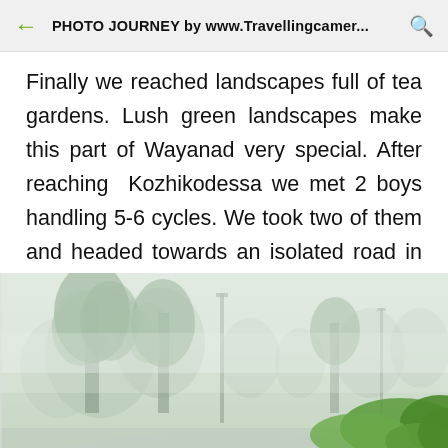PHOTO JOURNEY by www.Travellingcamer...
Finally we reached landscapes full of tea gardens. Lush green landscapes make this part of Wayanad very special. After reaching Kozhikodessa we met 2 boys handling 5-6 cycles. We took two of them and headed towards an isolated road in the middle of these tea gardens.
[Figure (photo): Misty road through tea gardens with trees and lush green hedges in fog, Wayanad]